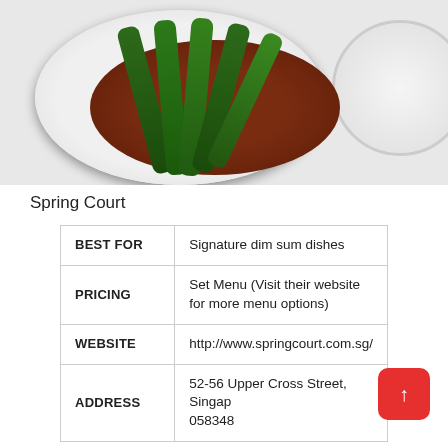[Figure (photo): Photo of a white bowl containing green vegetables (Chinese broccoli/gai lan) in a dark brown sauce, served on a white surface. A partial white plate is visible at the top right.]
Spring Court
| BEST FOR | Signature dim sum dishes |
| PRICING | Set Menu (Visit their website for more menu options) |
| WEBSITE | http://www.springcourt.com.sg/ |
| ADDRESS | 52-56 Upper Cross Street, Singapore 058348 |